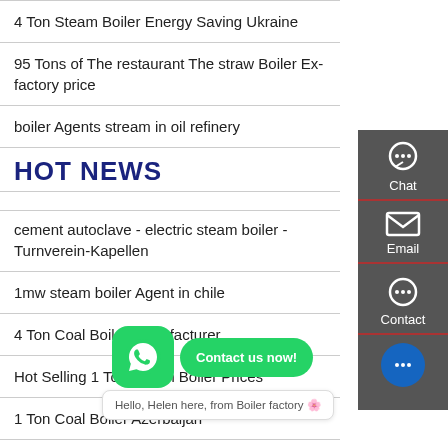4 Ton Steam Boiler Energy Saving Ukraine
95 Tons of The restaurant The straw Boiler Ex-factory price
boiler Agents stream in oil refinery
HOT NEWS
cement autoclave - electric steam boiler - Turnverein-Kapellen
1mw steam boiler Agent in chile
4 Ton Coal Boiler Manufacturer
Hot Selling 1 Ton Steam Boiler Prices
1 Ton Coal Boiler Azerbaijan
35 ton of gymnasium natural gas boiler installation fee
[Figure (screenshot): Right sidebar with Chat, Email, and Contact icons on dark grey background]
[Figure (screenshot): WhatsApp green button with Contact us now! bubble and Hello Helen chat bubble]